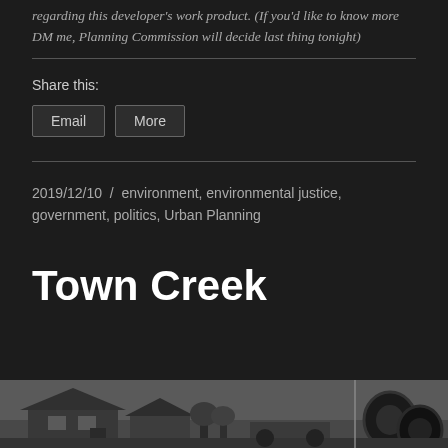regarding this developer's work product. (If you'd like to know more DM me, Planning Commission will decide last thing tonight)
Share this:
Email
More
2019/12/10 / environment, environmental justice, government, politics, Urban Planning
Town Creek
[Figure (photo): Black and white photograph of a house and tires, partially visible at bottom of page]